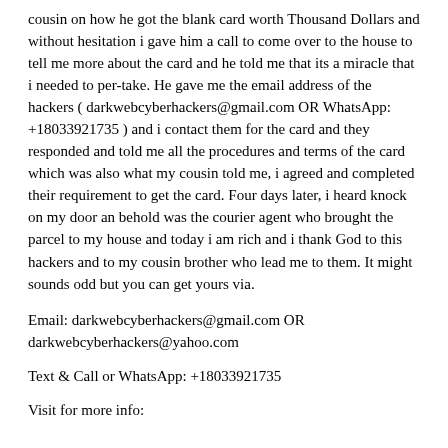cousin on how he got the blank card worth Thousand Dollars and without hesitation i gave him a call to come over to the house to tell me more about the card and he told me that its a miracle that i needed to per-take. He gave me the email address of the hackers ( darkwebcyberhackers@gmail.com OR WhatsApp: +18033921735 ) and i contact them for the card and they responded and told me all the procedures and terms of the card which was also what my cousin told me, i agreed and completed their requirement to get the card. Four days later, i heard knock on my door an behold was the courier agent who brought the parcel to my house and today i am rich and i thank God to this hackers and to my cousin brother who lead me to them. It might sounds odd but you can get yours via.
Email: darkwebcyberhackers@gmail.com OR darkwebcyberhackers@yahoo.com
Text & Call or WhatsApp: +18033921735
Visit for more info: